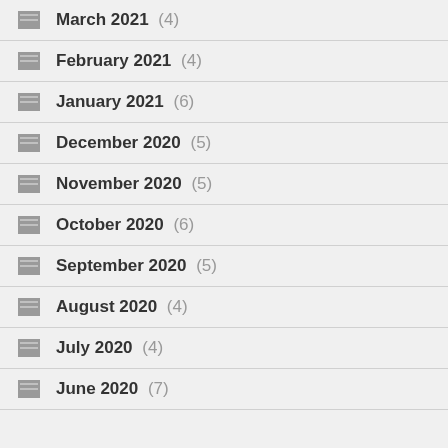March 2021 (4)
February 2021 (4)
January 2021 (6)
December 2020 (5)
November 2020 (5)
October 2020 (6)
September 2020 (5)
August 2020 (4)
July 2020 (4)
June 2020 (7)